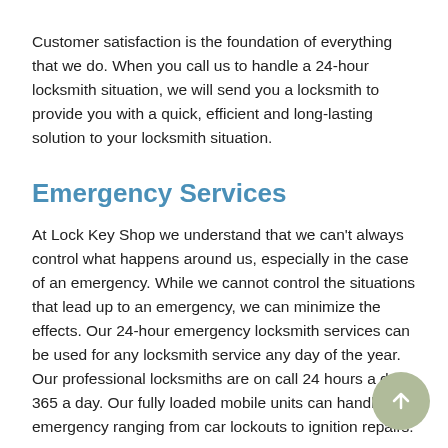Customer satisfaction is the foundation of everything that we do. When you call us to handle a 24-hour locksmith situation, we will send you a locksmith to provide you with a quick, efficient and long-lasting solution to your locksmith situation.
Emergency Services
At Lock Key Shop we understand that we can't always control what happens around us, especially in the case of an emergency. While we cannot control the situations that lead up to an emergency, we can minimize the effects. Our 24-hour emergency locksmith services can be used for any locksmith service any day of the year. Our professional locksmiths are on call 24 hours a day, 365 a day. Our fully loaded mobile units can handle any emergency ranging from car lockouts to ignition repairs.